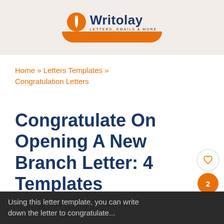[Figure (logo): Writolay logo with pencil icon and tagline 'Letters, Emails & More', orange rounded tab below]
Home » Letters Templates » Congratulation Letters
Congratulate On Opening A New Branch Letter: 4 Templates
Using this letter template, you can write down the letter to congratulate...